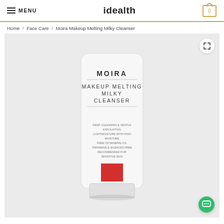MENU  idealth  [cart: 0]
Home / Face Care / Moira Makeup Melting Milky Cleanser
[Figure (photo): Product photo of Moira Makeup Melting Milky Cleanser tube — white tube with MOIRA branding, text: MAKEUP MELTING MILKY CLEANSER, bulleted claims: DEEP CLEANSING & GENTLE EXFOLIATING, LIGHTMOISTURE WITH HIGH MOISTURE, FREE OF MINERAL OIL, PARABENS & SILENCES FREE, RECOMMENDED FOR SENSITIVE SKIN; red square logo at bottom of tube.]